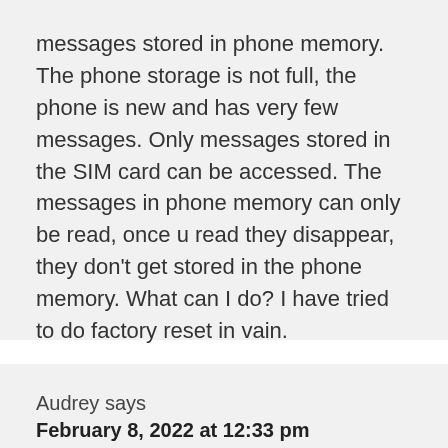messages stored in phone memory. The phone storage is not full, the phone is new and has very few messages. Only messages stored in the SIM card can be accessed. The messages in phone memory can only be read, once u read they disappear, they don't get stored in the phone memory. What can I do? I have tried to do factory reset in vain.
Audrey says
February 8, 2022 at 12:33 pm
If you keep getting that your storage is full, if you've deleted a bunch of videos, messages,